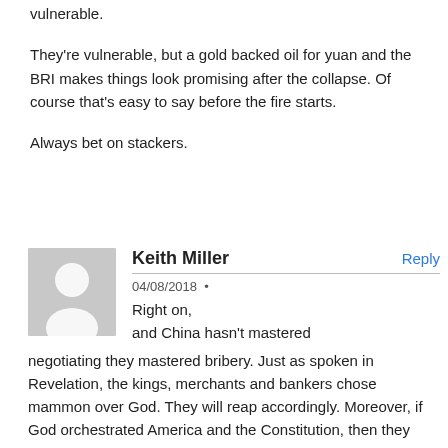vulnerable.
They're vulnerable, but a gold backed oil for yuan and the BRI makes things look promising after the collapse. Of course that's easy to say before the fire starts.
Always bet on stackers.
Keith Miller
04/08/2018
Reply
Right on, and China hasn't mastered negotiating they mastered bribery. Just as spoken in Revelation, the kings, merchants and bankers chose mammon over God. They will reap accordingly. Moreover, if God orchestrated America and the Constitution, then they didn't sell out America, they sold out God. Didn't work out well for Judas, Ananias or Sapphira. According to Mark Taylor God has had enough. We'll see what